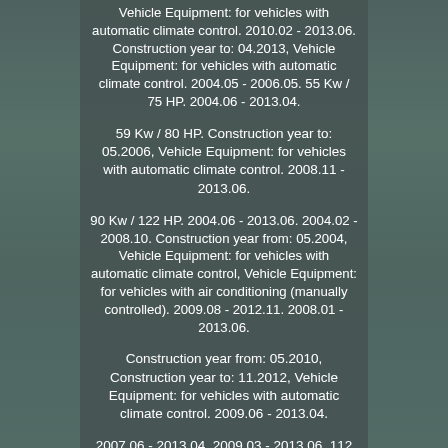Vehicle Equipment: for vehicles with automatic climate control. 2010.02 - 2013.06. Construction year to: 04.2013, Vehicle Equipment: for vehicles with automatic climate control. 2004.05 - 2006.05. 55 Kw / 75 HP. 2004.06 - 2013.04.
59 Kw / 80 HP. Construction year to: 05.2006, Vehicle Equipment: for vehicles with automatic climate control. 2008.11 - 2013.06.
90 Kw / 122 HP. 2004.06 - 2013.06. 2004.02 - 2008.10. Construction year from: 05.2004, Vehicle Equipment: for vehicles with automatic climate control, Vehicle Equipment: for vehicles with air conditioning (manually controlled). 2009.08 - 2012.11. 2008.01 - 2013.06.
Construction year from: 05.2010, Construction year to: 11.2012, Vehicle Equipment: for vehicles with automatic climate control. 2009.06 - 2013.04.
2007.06 - 2013.04. 2009.03 - 2013.06. 112 Kw / 152 HP. 2004.06 - 2010.12.
2004.11 - 2008.10. 2005.10 - 2013.02.